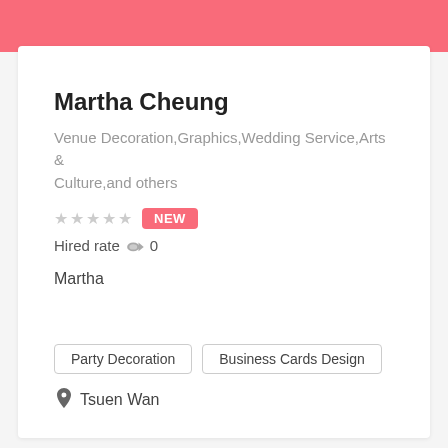Martha Cheung
Venue Decoration,Graphics,Wedding Service,Arts & Culture,and others
★★★★★ NEW
Hired rate 🔘 0
Martha
Party Decoration
Business Cards Design
📍 Tsuen Wan